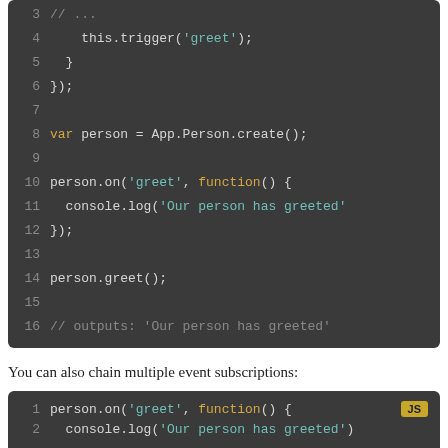[Figure (screenshot): Dark-themed code block showing JavaScript lines 3–16: this.trigger('greet'); }, var person = App.Person.create(); person.on('greet', function() { console.log('Our person has greeted' }); person.greet(); // outputs: 'Our person has greeted']
You can also chain multiple event subscriptions:
[Figure (screenshot): Dark-themed JavaScript code block with JS badge, lines 1–5: person.on('greet', function() { console.log('Our person has greeted') }).one('greet', function() { console.log('Offer one-time special') }).off('event', this, forgetThis);]